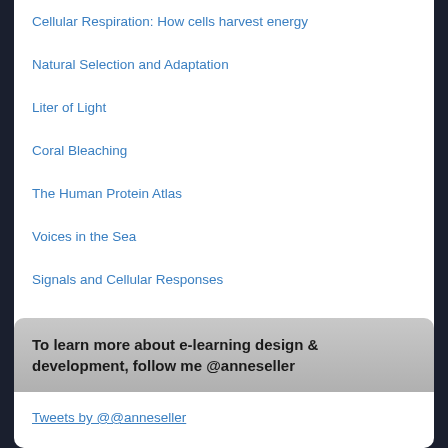Cellular Respiration: How cells harvest energy
Natural Selection and Adaptation
Liter of Light
Coral Bleaching
The Human Protein Atlas
Voices in the Sea
Signals and Cellular Responses
The Interactive Ear – A guide to human hearing
Reviving the Rain Forests of the Sea
Get your proteins, carbs and lipids here
To learn more about e-learning design & development, follow me @anneseller
Tweets by @@anneseller